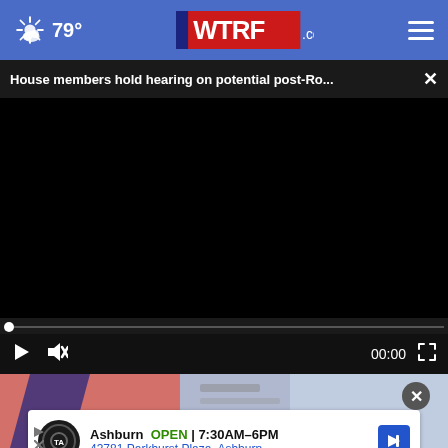79° WTRF.com
House members hold hearing on potential post-Ro... ×
[Figure (screenshot): Video player showing a black screen with playback controls: play button, mute button, timestamp 00:00, and fullscreen button. A progress bar is at the top of the controls area.]
[Figure (screenshot): Bottom portion of a webpage showing a partial image with pink/blue colors and an advertisement banner for Tire Auto in Ashburn, showing OPEN 7:30AM-6PM, 43781 Parkhurst Plaza, Ashburn]
Ashburn  OPEN | 7:30AM–6PM
43781 Parkhurst Plaza, Ashburn